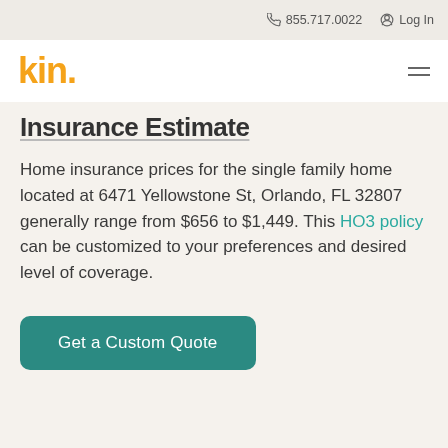855.717.0022  Log In
[Figure (logo): Kin insurance logo — 'kin.' in bold orange/yellow text]
Insurance Estimate
Home insurance prices for the single family home located at 6471 Yellowstone St, Orlando, FL 32807 generally range from $656 to $1,449. This HO3 policy can be customized to your preferences and desired level of coverage.
Get a Custom Quote